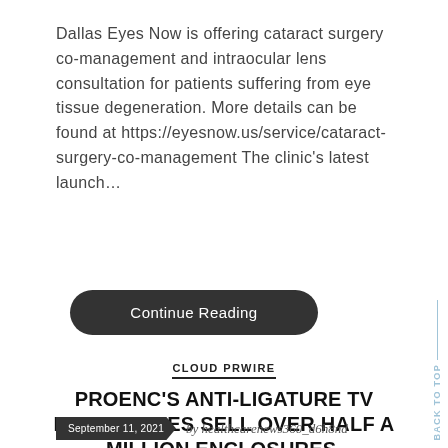Dallas Eyes Now is offering cataract surgery co-management and intraocular lens consultation for patients suffering from eye tissue degeneration. More details can be found at https://eyesnow.us/service/cataract-surgery-co-management The clinic's latest launch…
Continue Reading
CLOUD PRWIRE
PROENC'S ANTI-LIGATURE TV ENCLOSURES SELL OVER HALF A MILLION ENCLOSURES.
September 11, 2021  by healthcarenews360_d6h8nd